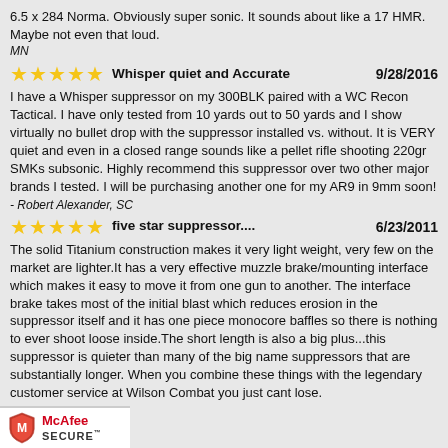6.5 x 284 Norma. Obviously super sonic. It sounds about like a 17 HMR. Maybe not even that loud.
MN
Whisper quiet and Accurate
9/28/2016
I have a Whisper suppressor on my 300BLK paired with a WC Recon Tactical. I have only tested from 10 yards out to 50 yards and I show virtually no bullet drop with the suppressor installed vs. without. It is VERY quiet and even in a closed range sounds like a pellet rifle shooting 220gr SMKs subsonic. Highly recommend this suppressor over two other major brands I tested. I will be purchasing another one for my AR9 in 9mm soon!
- Robert Alexander, SC
five star suppressor....
6/23/2011
The solid Titanium construction makes it very light weight, very few on the market are lighter.It has a very effective muzzle brake/mounting interface which makes it easy to move it from one gun to another. The interface brake takes most of the initial blast which reduces erosion in the suppressor itself and it has one piece monocore baffles so there is nothing to ever shoot loose inside.The short length is also a big plus...this suppressor is quieter than many of the big name suppressors that are substantially longer. When you combine these things with the legendary customer service at Wilson Combat you just cant lose.
- T Pressley, TX
[Figure (logo): McAfee SECURE logo with red shield icon]